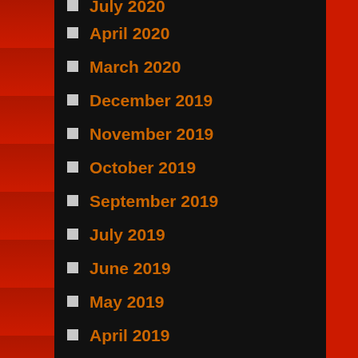July 2020
April 2020
March 2020
December 2019
November 2019
October 2019
September 2019
July 2019
June 2019
May 2019
April 2019
March 2019
December 2018
November 2018
October 2018
September 2018
August 2018
July 2018
June 2018
May 2018
April 2018
February 2018